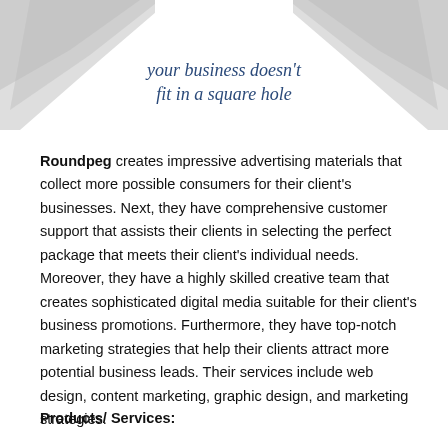[Figure (illustration): Decorative header with grey geometric diamond/arrow shapes on left and right corners]
your business doesn't fit in a square hole
Roundpeg creates impressive advertising materials that collect more possible consumers for their client's businesses. Next, they have comprehensive customer support that assists their clients in selecting the perfect package that meets their client's individual needs. Moreover, they have a highly skilled creative team that creates sophisticated digital media suitable for their client's business promotions. Furthermore, they have top-notch marketing strategies that help their clients attract more potential business leads. Their services include web design, content marketing, graphic design, and marketing strategies.
Products/ Services: